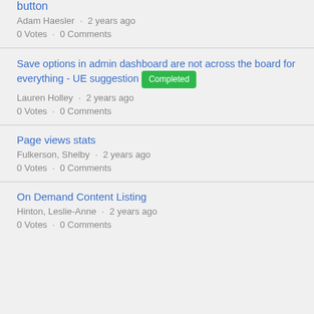button
Adam Haesler · 2 years ago
0 Votes · 0 Comments
Save options in admin dashboard are not across the board for everything - UE suggestion Completed
Lauren Holley · 2 years ago
0 Votes · 0 Comments
Page views stats
Fulkerson, Shelby · 2 years ago
0 Votes · 0 Comments
On Demand Content Listing
Hinton, Leslie-Anne · 2 years ago
0 Votes · 0 Comments